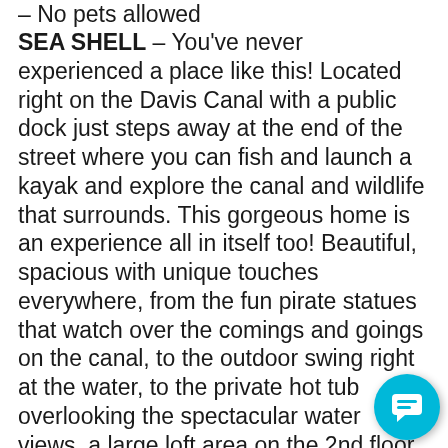– No pets allowed
SEA SHELL – You've never experienced a place like this!  Located right on the Davis Canal with a public dock just steps away at the end of the street where you can fish and launch a kayak and explore the canal and wildlife that surrounds.  This gorgeous home is an experience all in itself too!  Beautiful, spacious with unique touches everywhere, from the fun pirate statues that watch over the comings and goings on the canal, to the outdoor swing right at the water, to the private hot tub overlooking the spectacular water views, a large loft area on the 2nd floor with floor-to-ceiling windows to maximize those amazing views!  IT'S ALL ABOUT THE WATER VIEWS HERE!!!!  You will find the quiet and peaceful tranquility of this wonderful place something you have longed for and will never want to let go.  You are also just a couple minute drive from the beach and only about 5 minutes to shopping